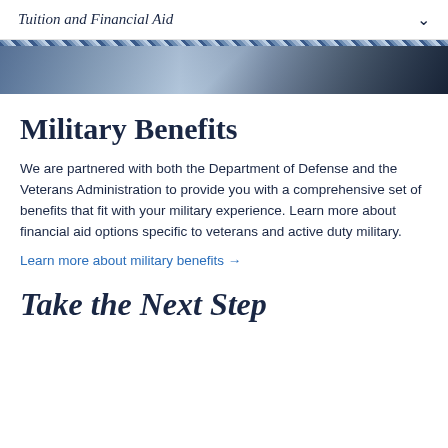Tuition and Financial Aid
[Figure (photo): A decorative banner with a striped pattern and a photograph of what appears to be a military or campus scene with equipment or machinery.]
Military Benefits
We are partnered with both the Department of Defense and the Veterans Administration to provide you with a comprehensive set of benefits that fit with your military experience. Learn more about financial aid options specific to veterans and active duty military.
Learn more about military benefits →
Take the Next Step